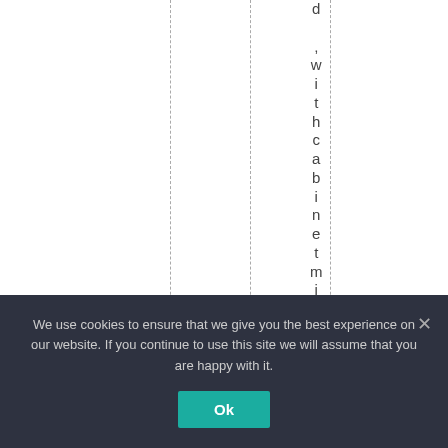d ,withcabinetminist
We use cookies to ensure that we give you the best experience on our website. If you continue to use this site we will assume that you are happy with it.